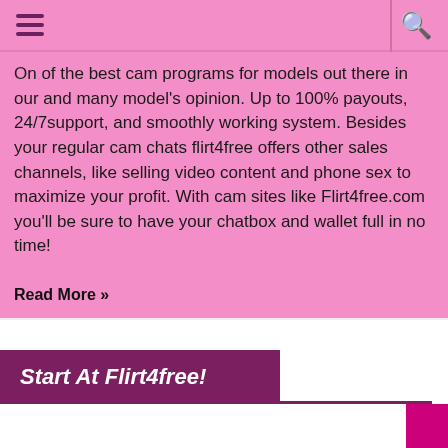hamburger menu | search icon
On of the best cam programs for models out there in our and many model's opinion. Up to 100% payouts, 24/7support, and smoothly working system. Besides your regular cam chats flirt4free offers other sales channels, like selling video content and phone sex to maximize your profit. With cam sites like Flirt4free.com you'll be sure to have your chatbox and wallet full in no time!
REGISTER AT FLIRT4FREE
Read More »
Start At Flirt4free!